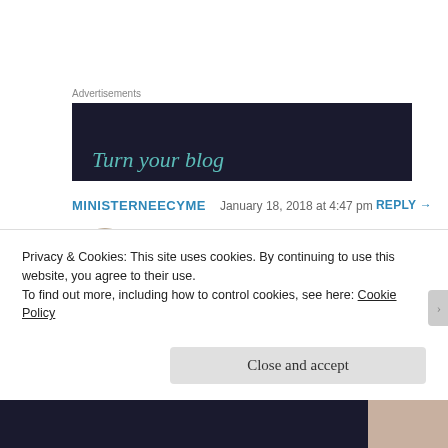Advertisements
[Figure (screenshot): Dark advertisement banner with teal text reading 'Turn your blog']
MINISTERNEECYME   January 18, 2018 at 4:47 pm   REPLY →
[Figure (photo): Circular avatar photo of a woman]
Great post. I started blogging in 2008 accidently. I had been laid off my job and happened to be surfing the internet when I
Privacy & Cookies: This site uses cookies. By continuing to use this website, you agree to their use.
To find out more, including how to control cookies, see here: Cookie Policy
Close and accept